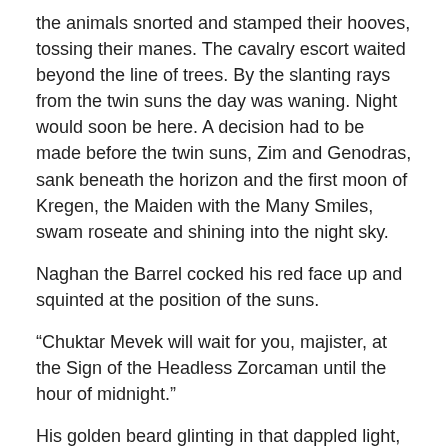the animals snorted and stamped their hooves, tossing their manes. The cavalry escort waited beyond the line of trees. By the slanting rays from the twin suns the day was waning. Night would soon be here. A decision had to be made before the twin suns, Zim and Genodras, sank beneath the horizon and the first moon of Kregen, the Maiden with the Many Smiles, swam roseate and shining into the night sky.
Naghan the Barrel cocked his red face up and squinted at the position of the suns.
“Chuktar Mevek will wait for you, majister, at the Sign of the Headless Zorcaman until the hour of midnight.”
His golden beard glinting in that dappled light, his four arms and tail hand relaxed, Korero the Shield coughed one of his dry little coughs. A magnificent golden Kildoi, a marvel with his shields, an adept of Disciplines, Korero was, like Turko, a valued comrade.
“Mevek may speak the truth,” said Korero, “but the risk is